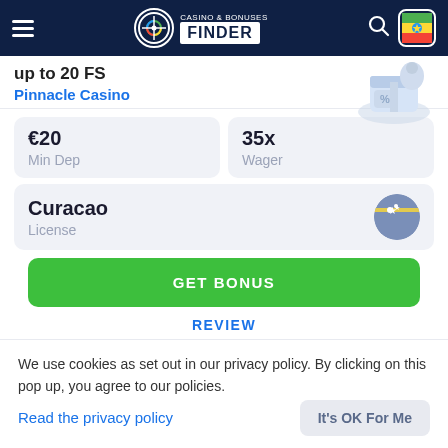[Figure (screenshot): Casino & Bonuses Finder website header with hamburger menu, logo, search icon, and Ethiopian flag icon on dark navy background]
up to 20 FS
Pinnacle Casino
| Min Dep | Wager |
| --- | --- |
| €20 | 35x |
Curacao
License
GET BONUS
REVIEW
We use cookies as set out in our privacy policy. By clicking on this pop up, you agree to our policies.
Read the privacy policy
It's OK For Me